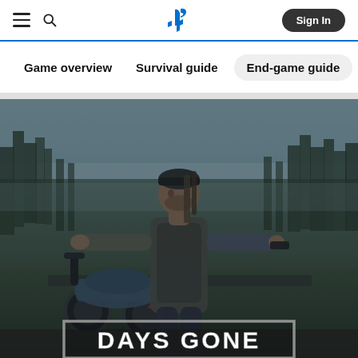PlayStation navigation header with hamburger menu, search icon, PlayStation logo, and Sign In button
Game overview | Survival guide | End-game guide
[Figure (screenshot): Days Gone game hero image showing the main character Deacon St. John standing with arms outstretched beside his motorcycle in a dark, forested post-apocalyptic setting. The Days Gone logo appears at the bottom of the image in white bold text with a border.]